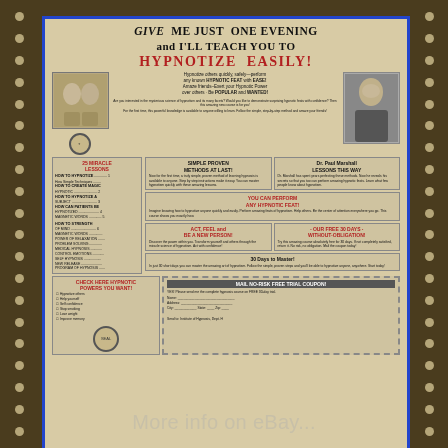[Figure (photo): eBay listing photo showing a vintage advertisement page for a hypnosis course. The ad features the headline 'GIVE ME JUST ONE EVENING and I’LL TEACH YOU TO HYPNOTIZE EASILY!' in bold red and black type. Contains photos of subjects, a table of 25 miracle lessons, descriptive text blocks, and a mail-in trial coupon at the bottom. The image has a dark brown background with film-strip dot borders on the sides and an eBay watermark overlay. A caption reads 'More info on eBay...']
More info on eBay...